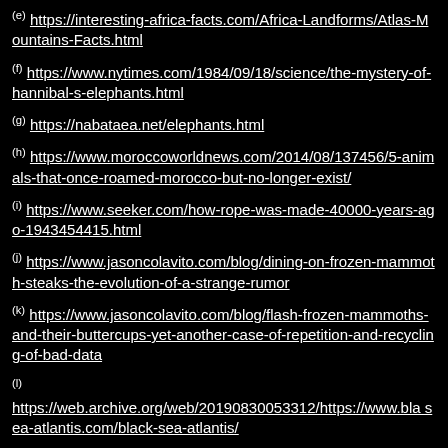(e) https://interesting-africa-facts.com/Africa-Landforms/Atlas-Mountains-Facts.html
(f) https://www.nytimes.com/1984/09/18/science/the-mystery-of-hannibal-s-elephants.html
(g) https://nabataea.net/elephants.html
(h) https://www.moroccoworldnews.com/2014/08/137456/5-animals-that-once-roamed-morocco-but-no-longer-exist/
(i) https://www.seeker.com/how-rope-was-made-40000-years-ago-1943454415.html
(j) https://www.jasoncolavito.com/blog/dining-on-frozen-mammoth-steaks-the-evolution-of-a-strange-rumor
(k) https://www.jasoncolavito.com/blog/flash-frozen-mammoths-and-their-buttercups-yet-another-case-of-repetition-and-recycling-of-bad-data
(l) https://web.archive.org/web/20190830053312/https://www.bla sea-atlantis.com/black-sea-atlantis/